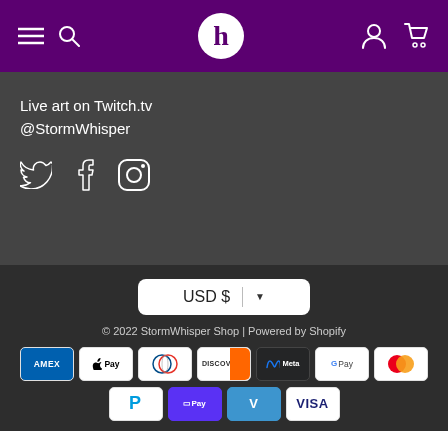Navigation bar with hamburger menu, search, h logo, user and cart icons
Live art on Twitch.tv
@StormWhisper
[Figure (infographic): Social media icons: Twitter, Facebook, Instagram]
[Figure (infographic): Currency selector dropdown showing USD $]
© 2022 StormWhisper Shop | Powered by Shopify
[Figure (infographic): Payment method icons: AMEX, Apple Pay, Diners Club, Discover, Meta Pay, Google Pay, Mastercard, PayPal, Shop Pay, Venmo, VISA]